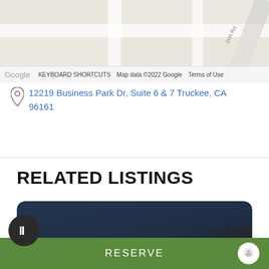[Figure (map): Google Maps screenshot showing a location near Business Park area with road markings visible]
Google  KEYBOARD SHORTCUTS  Map data ©2022 Google  Terms of Use
12219 Business Park Dr, Suite 6 & 7 Truckee, CA 96161
RELATED LISTINGS
[Figure (photo): Dark blue evening/night sky photo used as listing card background with dark landscape silhouette]
RESERVE